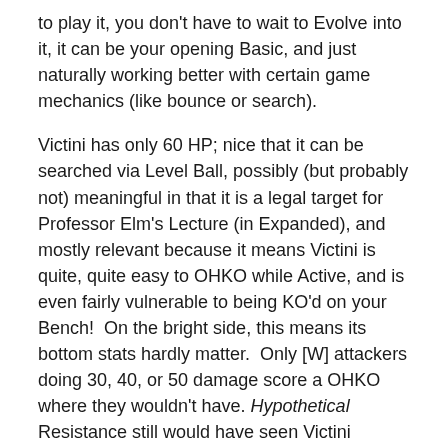to play it, you don't have to wait to Evolve into it, it can be your opening Basic, and just naturally working better with certain game mechanics (like bounce or search).
Victini has only 60 HP; nice that it can be searched via Level Ball, possibly (but probably not) meaningful in that it is a legal target for Professor Elm's Lecture (in Expanded), and mostly relevant because it means Victini is quite, quite easy to OHKO while Active, and is even fairly vulnerable to being KO'd on your Bench!  On the bright side, this means its bottom stats hardly matter.  Only [W] attackers doing 30, 40, or 50 damage score a OHKO where they wouldn't have. Hypothetical Resistance still would have seen Victini OHKO'd by affected attackers KO'd by just 90 damage.  When you're this small, odds are good you don't live long enough to retreat.